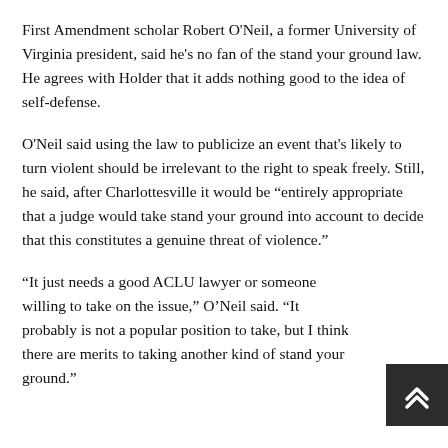First Amendment scholar Robert O'Neil, a former University of Virginia president, said he's no fan of the stand your ground law. He agrees with Holder that it adds nothing good to the idea of self-defense.
O'Neil said using the law to publicize an event that's likely to turn violent should be irrelevant to the right to speak freely. Still, he said, after Charlottesville it would be "entirely appropriate that a judge would take stand your ground into account to decide that this constitutes a genuine threat of violence."
"It just needs a good ACLU lawyer or someone willing to take on the issue," O'Neil said. "It probably is not a popular position to take, but I think there are merits to taking another kind of stand your ground."